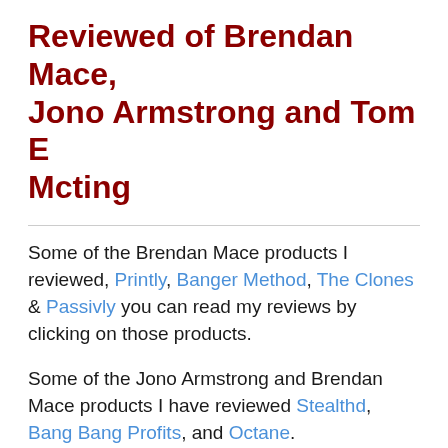Reviewed of Brendan Mace, Jono Armstrong and Tom E Mcting
Some of the Brendan Mace products I reviewed, Printly, Banger Method, The Clones & Passivly you can read my reviews by clicking on those products.
Some of the Jono Armstrong and Brendan Mace products I have reviewed Stealthd, Bang Bang Profits, and Octane.
One of the products which I have already reviewed of these 3 creators is 0 to 100 In 24